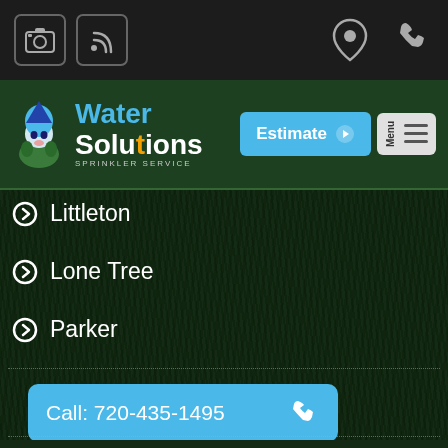Water Solutions Sprinkler Service - mobile website header with social icons, location and phone icons
[Figure (screenshot): Mobile website navigation bar with Water Solutions Sprinkler Service logo, Estimate button, and Menu button]
Littleton
Lone Tree
Parker
Call: 720-435-1495
Request an Appointment
First Name *
Last Name *